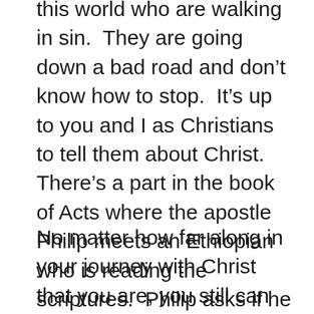this world who are walking in sin.  They are going down a bad road and don't know how to stop.  It's up to you and I as Christians to tell them about Christ.  There's a part in the book of Acts where the apostle Philip meets an Ethiopian who is reading the scriptures.  Philip asks if he understands what he's reading, to which the Ethiopian replies, “How can I if nobody explains it to me?”
No matter how far along in your journey with Christ that you are, you still can help show someone else the truth. We all have a story. Start with what you know.  Tell that other